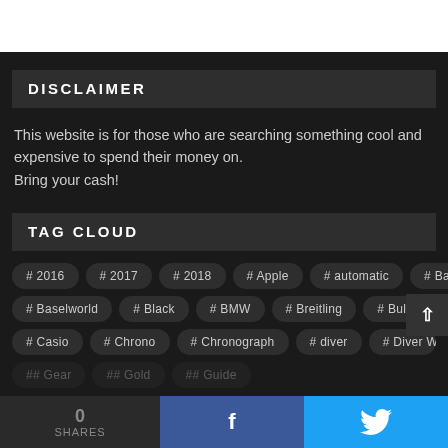DISCLAIMER
This website is for those who are searching something cool and expensive to spend their money on.
Bring your cash!
TAG CLOUD
# 2016
# 2017
# 2018
# Apple
# automatic
# Basel
# Baselworld
# Black
# BMW
# Breitling
# Bulova
# Casio
# Chrono
# Chronograph
# diver
# Diver Watch
0 SHARES  [Facebook share]  [Twitter share]